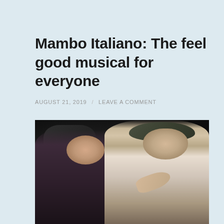Mambo Italiano: The feel good musical for everyone
AUGUST 21, 2019 / LEAVE A COMMENT
[Figure (photo): Two performers on stage. A woman with curly dark hair wearing a dark floral outfit smiles up at a man wearing a flat cap and a vest over a light shirt, who reaches toward her face. Dark theatrical stage background.]